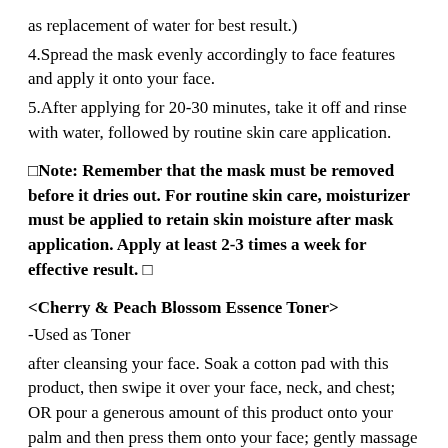as replacement of water for best result.)
4.Spread the mask evenly accordingly to face features and apply it onto your face.
5.After applying for 20-30 minutes, take it off and rinse with water, followed by routine skin care application.
□Note: Remember that the mask must be removed before it dries out. For routine skin care, moisturizer must be applied to retain skin moisture after mask application. Apply at least 2-3 times a week for effective result. □
<Cherry & Peach Blossom Essence Toner>
-Used as Toner
after cleansing your face. Soak a cotton pad with this product, then swipe it over your face, neck, and chest; OR pour a generous amount of this product onto your palm and then press them onto your face; gently massage for skin absorption. For daily usage.